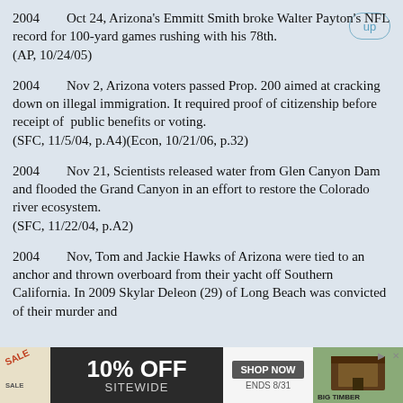2004    Oct 24, Arizona's Emmitt Smith broke Walter Payton's NFL record for 100-yard games rushing with his 78th.
    (AP, 10/24/05)
2004    Nov 2, Arizona voters passed Prop. 200 aimed at cracking down on illegal immigration. It required proof of citizenship before receipt of  public benefits or voting.
    (SFC, 11/5/04, p.A4)(Econ, 10/21/06, p.32)
2004    Nov 21, Scientists released water from Glen Canyon Dam and flooded the Grand Canyon in an effort to restore the Colorado river ecosystem.
    (SFC, 11/22/04, p.A2)
2004    Nov, Tom and Jackie Hawks of Arizona were tied to an anchor and thrown overboard from their yacht off Southern California. In 2009 Skylar Deleon (29) of Long Beach was convicted of their murder and
[Figure (infographic): Advertisement banner: SALE 10% OFF SITEWIDE, SHOP NOW, ENDS 8/31, BIG TIMBER]